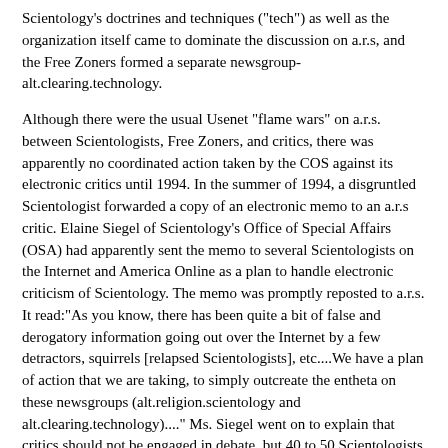Scientology's doctrines and techniques ("tech") as well as the organization itself came to dominate the discussion on a.r.s, and the Free Zoners formed a separate newsgroup-alt.clearing.technology.
Although there were the usual Usenet "flame wars" on a.r.s. between Scientologists, Free Zoners, and critics, there was apparently no coordinated action taken by the COS against its electronic critics until 1994. In the summer of 1994, a disgruntled Scientologist forwarded a copy of an electronic memo to an a.r.s critic. Elaine Siegel of Scientology's Office of Special Affairs (OSA) had apparently sent the memo to several Scientologists on the Internet and America Online as a plan to handle electronic criticism of Scientology. The memo was promptly reposted to a.r.s. It read:"As you know, there has been quite a bit of false and derogatory information going out over the Internet by a few detractors, squirrels [relapsed Scientologists], etc....We have a plan of action that we are taking, to simply outcreate the entheta on these newsgroups (alt.religion.scientology and alt.clearing.technology)...." Ms. Siegel went on to explain that critics should not be engaged in debate, but 40 to 50 Scientologists should post pro-Scientology materials every few days so that "we'll just run the SP's [suppressive persons] right off the system. It will be quite simple, actually."